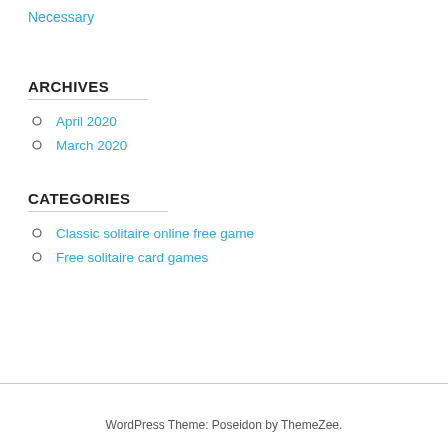Necessary
ARCHIVES
April 2020
March 2020
CATEGORIES
Classic solitaire online free game
Free solitaire card games
WordPress Theme: Poseidon by ThemeZee.